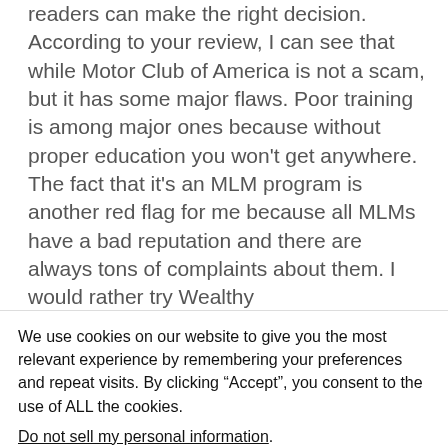readers can make the right decision. According to your review, I can see that while Motor Club of America is not a scam, but it has some major flaws. Poor training is among major ones because without proper education you won't get anywhere. The fact that it's an MLM program is another red flag for me because all MLMs have a bad reputation and there are always tons of complaints about them. I would rather try Wealthy
We use cookies on our website to give you the most relevant experience by remembering your preferences and repeat visits. By clicking “Accept”, you consent to the use of ALL the cookies.
Do not sell my personal information.